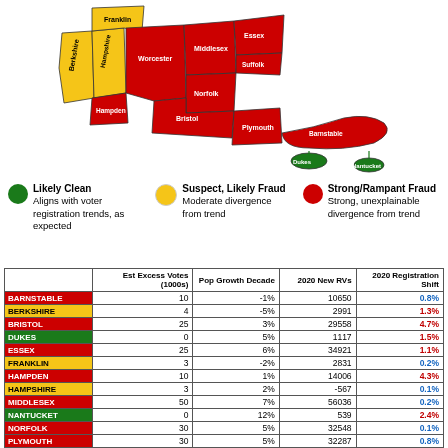[Figure (map): Map of Massachusetts counties color-coded by fraud level: red = Strong/Rampant Fraud, yellow = Suspect/Likely Fraud, green = Likely Clean. Counties labeled: Franklin, Berkshire, Hampshire, Hampden, Middlesex, Norfolk, Plymouth, Bristol, Suffolk, Essex, Worcester, Dukes, Nantucket.]
Likely Clean – Aligns with voter registration trends, as expected | Suspect, Likely Fraud – Moderate divergence from trend | Strong/Rampant Fraud – Strong, unexplainable divergence from trend
|  | Est Excess Votes (1000s) | Pop Growth Decade | 2020 New RVs | 2020 Registration Shift |
| --- | --- | --- | --- | --- |
| BARNSTABLE | 10 | -1% | 10650 | 0.8% |
| BERKSHIRE | 4 | -5% | 2991 | 1.3% |
| BRISTOL | 25 | 3% | 29558 | 4.7% |
| DUKES | 0 | 5% | 1117 | 1.5% |
| ESSEX | 25 | 6% | 34921 | 1.1% |
| FRANKLIN | 3 | -2% | 2831 | 0.2% |
| HAMPDEN | 10 | 1% | 14006 | 4.3% |
| HAMPSHIRE | 3 | 2% | -567 | 0.1% |
| MIDDLESEX | 50 | 7% | 56036 | 0.2% |
| NANTUCKET | 0 | 12% | 539 | 2.4% |
| NORFOLK | 30 | 5% | 32548 | 0.1% |
| PLYMOUTH | 30 | 5% | 32287 | 0.8% |
| SUFFOLK | 10 | 11% | 21627 | 2.8% |
| WORCESTER | 35 | 4% | 39391 | 1.9% |